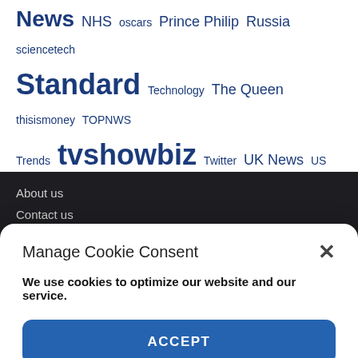News NHS oscars Prince Philip Russia sciencetech Standard Technology The Queen thisismoney TOPNWS Trends tvshowbiz Twitter UK News US Weight Loss WEU Will Smith
About us
Contact us
Cookie Policy (US)
Manage Cookie Consent
We use cookies to optimize our website and our service.
ACCEPT
Cookie Policy   Privacy Policy